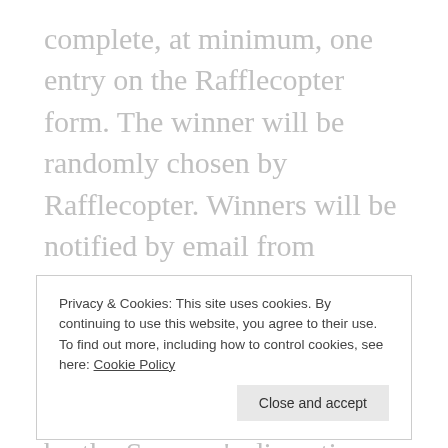complete, at minimum, one entry on the Rafflecopter form. The winner will be randomly chosen by Rafflecopter. Winners will be notified by email from Giveaway Gator. Winners will have 48 hours to respond or risk forfeiting their prize. Prize may re-awarded solely by the Sponsor's discretion. Prize fulfillment is the sole responsibility of the sponsor. Pea of Sweetness may not be held liable for Sponsors who do not fulfill prize shipments. Giveaway Gator received one product equal to the price but was not compensated monetarily for this post. Owners at
Privacy & Cookies: This site uses cookies. By continuing to use this website, you agree to their use. To find out more, including how to control cookies, see here: Cookie Policy
Close and accept